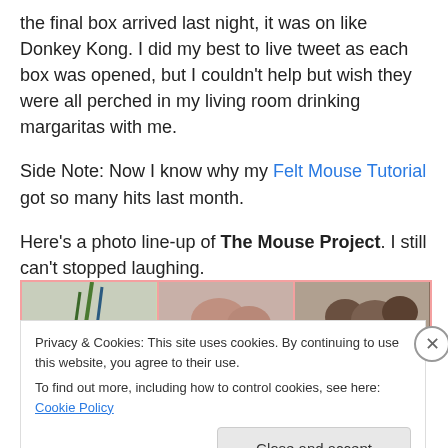the final box arrived last night, it was on like Donkey Kong. I did my best to live tweet as each box was opened, but I couldn't help but wish they were all perched in my living room drinking margaritas with me.
Side Note: Now I know why my Felt Mouse Tutorial got so many hits last month.
Here's a photo line-up of The Mouse Project. I still can't stopped laughing.
[Figure (photo): Three side-by-side photos partially visible: left shows green plant/stems on light background, middle shows pink/tan rounded shapes, right shows brown rounded objects on light background.]
Privacy & Cookies: This site uses cookies. By continuing to use this website, you agree to their use.
To find out more, including how to control cookies, see here: Cookie Policy